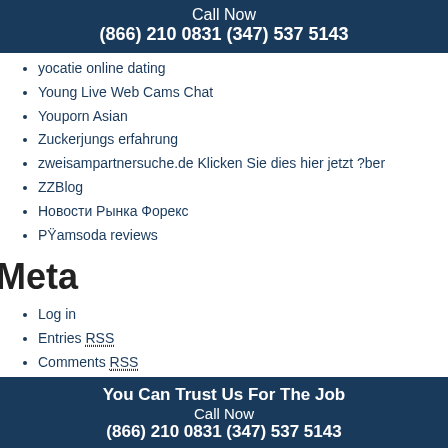Call Now
(866) 210 0831 (347) 537 5143
yocatie online dating
Young Live Web Cams Chat
Youporn Asian
Zuckerjungs erfahrung
zweisampartnersuche.de Klicken Sie dies hier jetzt ?ber
ZZBlog
Новости Рынка Форекс
РŸamsoda reviews
Meta
Log in
Entries RSS
Comments RSS
WordPress.org
You Can Trust Us For The Job
Call Now
(866) 210 0831 (347) 537 5143